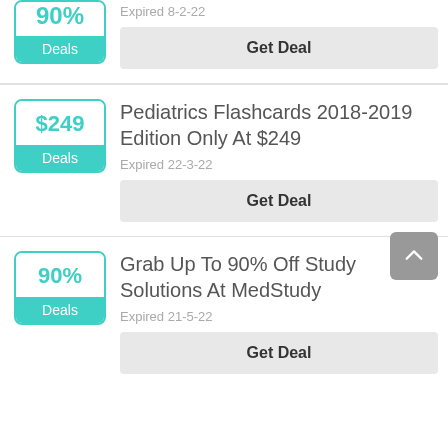[Figure (other): Partial deal card at top: badge showing 90% with teal Deals label, expired 8-2-22, Get Deal button]
Expired 8-2-22
Get Deal
Pediatrics Flashcards 2018-2019 Edition Only At $249
Expired 22-3-22
Get Deal
Grab Up To 90% Off Study Solutions At MedStudy
Expired 21-5-22
Get Deal